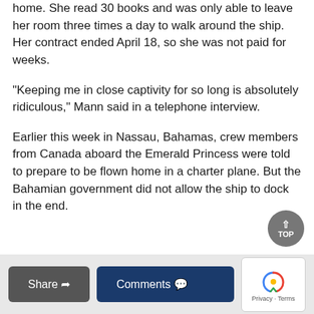home. She read 30 books and was only able to leave her room three times a day to walk around the ship. Her contract ended April 18, so she was not paid for weeks.
“Keeping me in close captivity for so long is absolutely ridiculous,” Mann said in a telephone interview.
Earlier this week in Nassau, Bahamas, crew members from Canada aboard the Emerald Princess were told to prepare to be flown home in a charter plane. But the Bahamian government did not allow the ship to dock in the end.
Share | Comments | reCAPTCHA | Privacy - Terms